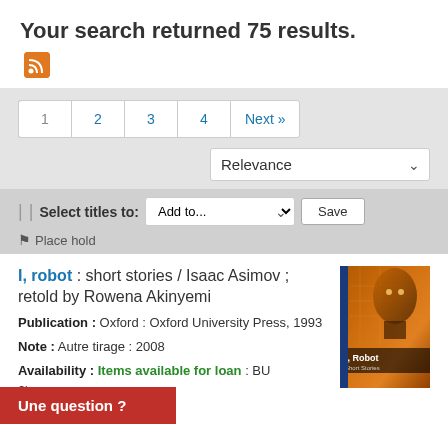Your search returned 75 results.
1  2  3  4  Next »
Relevance
Select titles to: Add to... Save
Place hold
I, robot : short stories / Isaac Asimov ; retold by Rowena Akinyemi
Publication : Oxford : Oxford University Press, 1993
Note : Autre tirage : 2008
Availability : Items available for loan : BU (2).
artificielle : la nouvelle
Une question ?